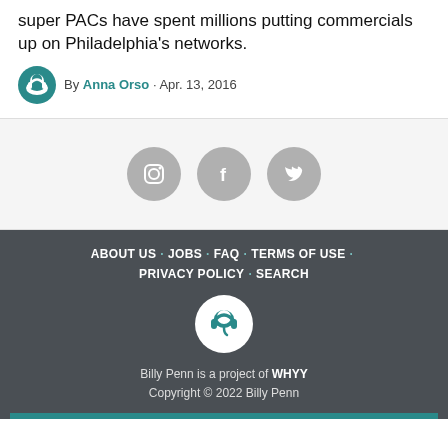super PACs have spent millions putting commercials up on Philadelphia's networks.
By Anna Orso · Apr. 13, 2016
[Figure (other): Social media icons: Instagram, Facebook, Twitter in grey circles]
ABOUT US · JOBS · FAQ · TERMS OF USE · PRIVACY POLICY · SEARCH
Billy Penn is a project of WHYY
Copyright © 2022 Billy Penn